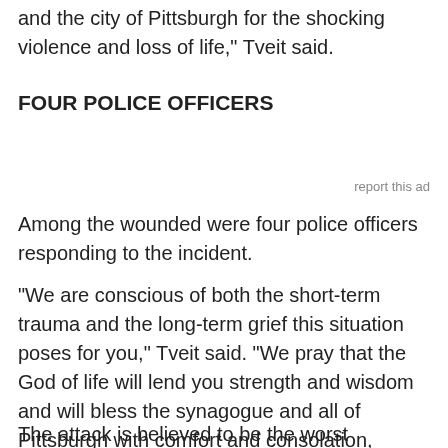and the city of Pittsburgh for the shocking violence and loss of life," Tveit said.
FOUR POLICE OFFICERS
report this ad
Among the wounded were four police officers responding to the incident.
"We are conscious of both the short-term trauma and the long-term grief this situation poses for you," Tveit said. "We pray that the God of life will lend you strength and wisdom and will bless the synagogue and all of Pittsburgh with comfort and consolation, healing and help in the days ahead."
The attack is believed to be the worst antisemitic violence in